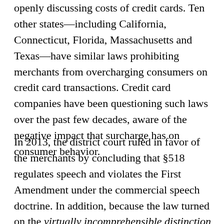openly discussing costs of credit cards. Ten other states—including California, Connecticut, Florida, Massachusetts and Texas—have similar laws prohibiting merchants from overcharging consumers on credit card transactions. Credit card companies have been questioning such laws over the past few decades, aware of the negative impact that surcharge has on consumer behavior.
In 2013, the district court ruled in favor of the merchants by concluding that §518 regulates speech and violates the First Amendment under the commercial speech doctrine. In addition, because the law turned on the virtually incomprehensible distinction between what a vendor can and cannot